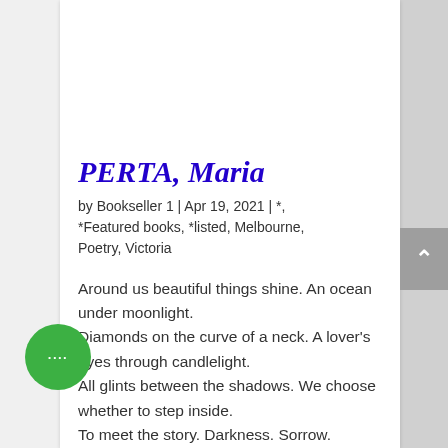PERTA, Maria
by Bookseller 1 | Apr 19, 2021 | *, *Featured books, *listed, Melbourne, Poetry, Victoria
Around us beautiful things shine. An ocean under moonlight.
Diamonds on the curve of a neck. A lover's eyes through candlelight.
All glints between the shadows. We choose whether to step inside.
To meet the story. Darkness. Sorrow.